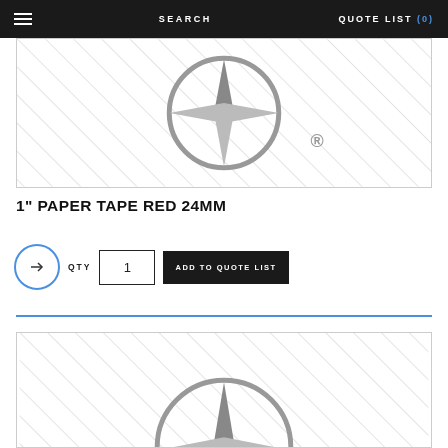SEARCH   QUOTE LIST (0)
[Figure (illustration): Product placeholder image with diagonal hatching pattern and a compass rose logo watermark with registered trademark symbol]
1" PAPER TAPE RED 24MM
QTY  1  ADD TO QUOTE LIST
[Figure (illustration): Second product placeholder image with diagonal hatching pattern and a compass rose logo watermark]